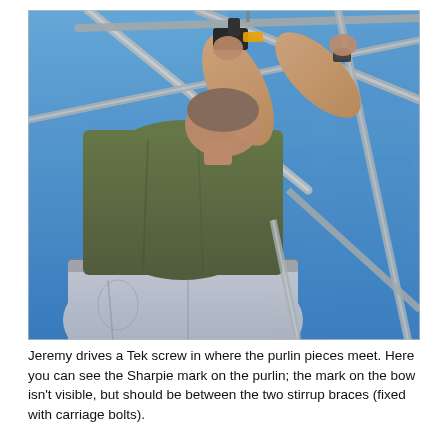[Figure (photo): A man wearing a green t-shirt and jeans stands on scaffolding elevated high above ground, using a power drill to drive a Tek screw where purlin pieces meet on a metal frame structure. The photo is taken from a low angle looking up, with a clear blue sky in the background. Metal tubes (purlins and bows) cross in multiple directions around the worker.]
Jeremy drives a Tek screw in where the purlin pieces meet. Here you can see the Sharpie mark on the purlin; the mark on the bow isn't visible, but should be between the two stirrup braces (fixed with carriage bolts).